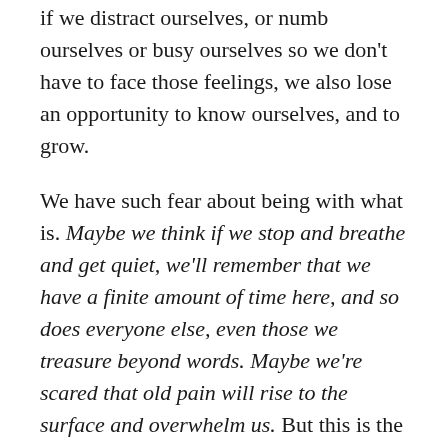if we distract ourselves, or numb ourselves or busy ourselves so we don't have to face those feelings, we also lose an opportunity to know ourselves, and to grow.
We have such fear about being with what is. Maybe we think if we stop and breathe and get quiet, we'll remember that we have a finite amount of time here, and so does everyone else, even those we treasure beyond words. Maybe we're scared that old pain will rise to the surface and overwhelm us. But this is the stuff that keeps us miserable and suffering. The denial, the avoidance. If we refuse to look at our issues, our problems, or pain, then all of that remains bubbling below everything we do and say. Living your life on the run is no way to do things. Not knowing yourself is the loneliest thing there is.